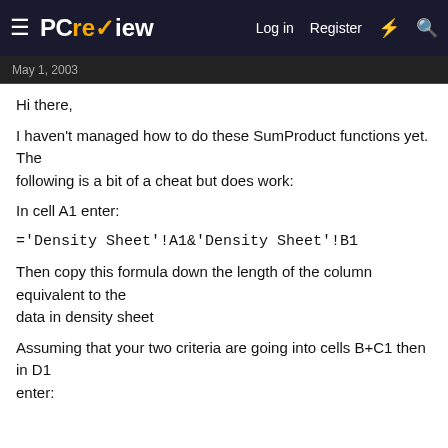PCreview — Log in  Register
May 1, 2003
Hi there,
I haven't managed how to do these SumProduct functions yet. The following is a bit of a cheat but does work:
In cell A1 enter:
Then copy this formula down the length of the column equivalent to the data in density sheet
Assuming that your two criteria are going into cells B+C1 then in D1 enter: